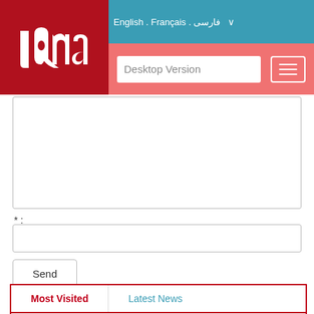[Figure (screenshot): IQNA website header with logo, language selector (English, Français, فارسی), teal navigation bar, and pink/salmon sub-navigation bar with Desktop Version input and hamburger menu button]
[Figure (screenshot): Web form with textarea (comment box), a required field label (* :), an email/text input field, and a Send button]
Most Visited
Latest News
Oman's Sultan Qaboos Quran Competition to Kick Off Monday
Movahed Amin's Recitation of Verses from Surah As-Saffat
Muslim Community in Irish City to Organize Open-Door Event,